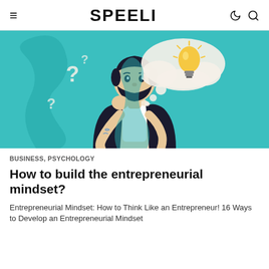SPEELI
[Figure (illustration): Cartoon illustration of a bearded man thinking, with question marks and a thought bubble containing a lit lightbulb, on a teal background.]
BUSINESS, PSYCHOLOGY
How to build the entrepreneurial mindset?
Entrepreneurial Mindset: How to Think Like an Entrepreneur! 16 Ways to Develop an Entrepreneurial Mindset